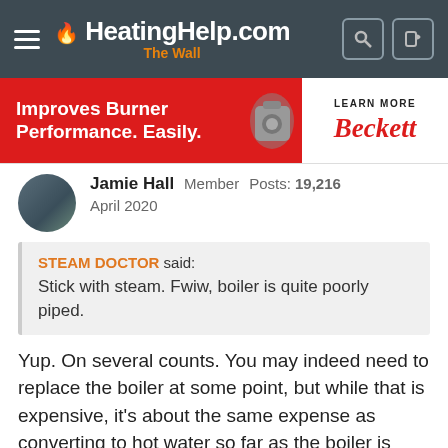HeatingHelp.com The Wall
[Figure (other): Beckett advertisement banner: 'Improves Burner Performance. Easily.' with LEARN MORE and Beckett logo]
Jamie Hall   Member   Posts: 19,216
April 2020
STEAM DOCTOR said:
Stick with steam. Fwiw, boiler is quite poorly piped.
Yup. On several counts. You may indeed need to replace the boiler at some point, but while that is expensive, it's about the same expense as converting to hot water so far as the boiler is concerned (a boiler is a boiler is a boiler...) -- and the expense, difficulty, and practicality of converting the rest of the system to